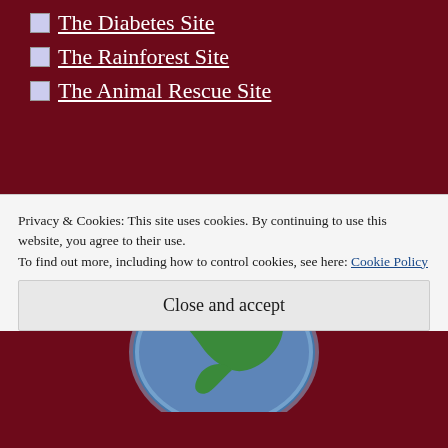The Diabetes Site
The Rainforest Site
The Animal Rescue Site
[Figure (illustration): Globe illustration showing North America in green on a blue sphere, partially visible, centered in a dark red section]
Privacy & Cookies: This site uses cookies. By continuing to use this website, you agree to their use.
To find out more, including how to control cookies, see here: Cookie Policy
Close and accept